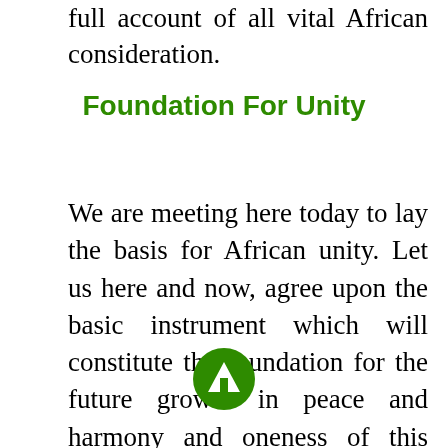full account of all vital African consideration.
Foundation For Unity
We are meeting here today to lay the basis for African unity. Let us here and now, agree upon the basic instrument which will constitute the foundation for the future growth in peace and harmony and oneness of this continent. Let our meetings henceforth proceed from solid accomplishments. Let us not put off, to later consideration and study, the single act, the one decision, which must emerge from this gathering if it is to have real meaning. This Conference cannot close